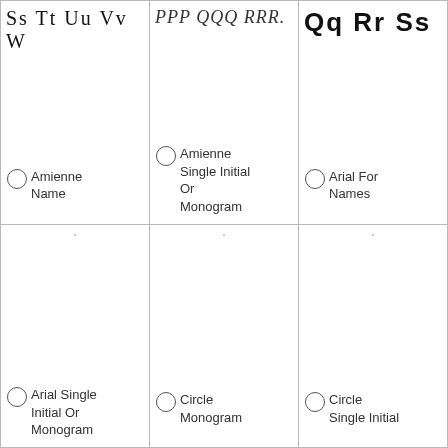[Figure (illustration): Font selection grid showing 6 font style options in a 3x2 layout. Top row: cursive script 'Ss Tt Uu Vv W' (Amienne Name), italic script 'PPP QQQ RRR.' (Amienne Single Initial Or Monogram), bold sans-serif 'Qq Rr Ss' (Arial For Names). Bottom row: three empty preview cells with radio button labels: Arial Single Initial Or Monogram, Circle Monogram, Circle Single Initial.]